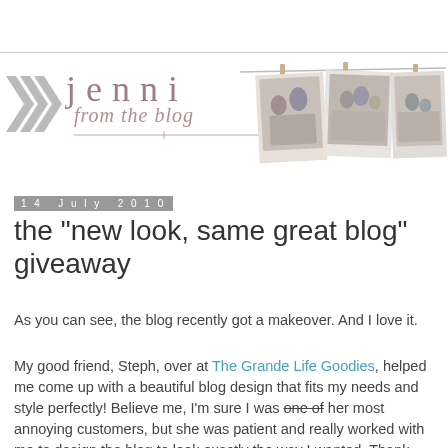[Figure (logo): Blog header logo: 'jenni from the blog' with grey chevrons on left and three family photos hanging on a clothesline on the right]
14 July 2010
the "new look, same great blog" giveaway
As you can see, the blog recently got a makeover. And I love it.
My good friend, Steph, over at The Grande Life Goodies, helped me come up with a beautiful blog design that fits my needs and style perfectly! Believe me, I'm sure I was one of her most annoying customers, but she was patient and really worked with me to design the blog to look exactly the way I wanted. Thank you so much, Stephadomas :)